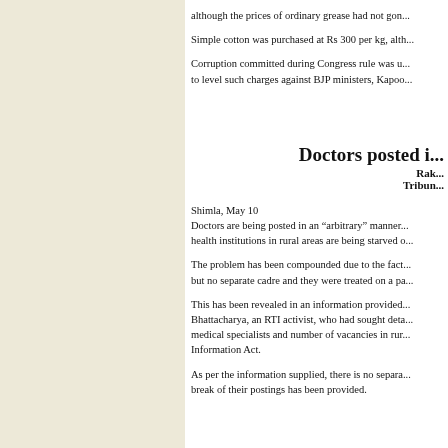although the prices of ordinary grease had not gon...
Simple cotton was purchased at Rs 300 per kg, alth...
Corruption committed during Congress rule was u... to level such charges against BJP ministers, Kapoo...
Doctors posted i...
Rak...
Tribun...
Shimla, May 10
Doctors are being posted in an “arbitrary” manner... health institutions in rural areas are being starved o...
The problem has been compounded due to the fact... but no separate cadre and they were treated on a pa...
This has been revealed in an information provided... Bhattacharya, an RTI activist, who had sought deta... medical specialists and number of vacancies in rur... Information Act.
As per the information supplied, there is no separa... break of their postings has been provided.